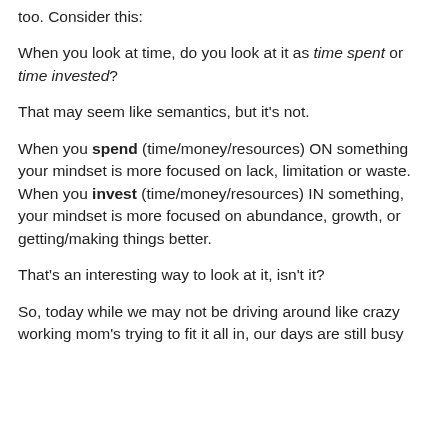too. Consider this:
When you look at time, do you look at it as time spent or time invested?
That may seem like semantics, but it's not.
When you spend (time/money/resources) ON something your mindset is more focused on lack, limitation or waste. When you invest (time/money/resources) IN something, your mindset is more focused on abundance, growth, or getting/making things better.
That's an interesting way to look at it, isn't it?
So, today while we may not be driving around like crazy working mom's trying to fit it all in, our days are still busy